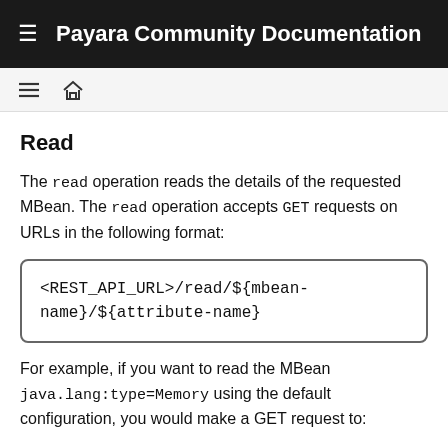Payara Community Documentation
Read
The read operation reads the details of the requested MBean. The read operation accepts GET requests on URLs in the following format:
For example, if you want to read the MBean java.lang:type=Memory using the default configuration, you would make a GET request to: